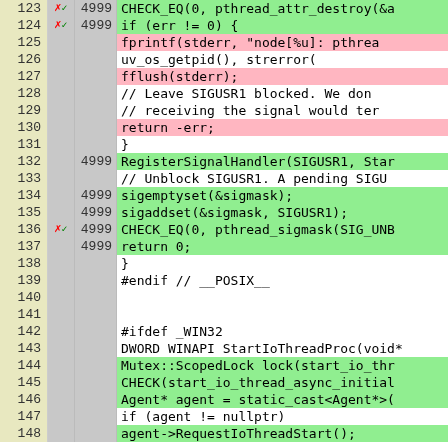[Figure (screenshot): Code coverage viewer showing C++ source lines 123-148 with line numbers, hit counts (4999), coverage markers (red x, green check), and color-coded background highlighting (green for covered, pink/red for uncovered lines). Code includes pthread, signal handler, and Windows IO thread proc sections.]